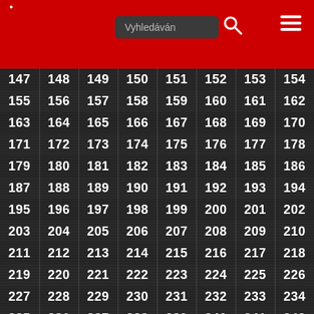[Figure (screenshot): Red header bar with search input field labeled 'Vyhledávání', a search magnifying glass icon, and a hamburger menu icon on the right]
| 147 | 148 | 149 | 150 | 151 | 152 | 153 | 154 |
| 155 | 156 | 157 | 158 | 159 | 160 | 161 | 162 |
| 163 | 164 | 165 | 166 | 167 | 168 | 169 | 170 |
| 171 | 172 | 173 | 174 | 175 | 176 | 177 | 178 |
| 179 | 180 | 181 | 182 | 183 | 184 | 185 | 186 |
| 187 | 188 | 189 | 190 | 191 | 192 | 193 | 194 |
| 195 | 196 | 197 | 198 | 199 | 200 | 201 | 202 |
| 203 | 204 | 205 | 206 | 207 | 208 | 209 | 210 |
| 211 | 212 | 213 | 214 | 215 | 216 | 217 | 218 |
| 219 | 220 | 221 | 222 | 223 | 224 | 225 | 226 |
| 227 | 228 | 229 | 230 | 231 | 232 | 233 | 234 |
| 235 | 236 | 237 | 238 | 239 | 240 | 241 | 242 |
| 243 | 244 | 245 | 246 | 247 | 248 | 249 | 250 |
| 251 | 252 | 253 | 254 | 255 | 256 | 257 | 258 |
| 259 | 260 | 261 | 262 | 263 | 264 | 265 | 266 |
| 267 | 268 | 269 | 270 | 271 | 272 | 273 | 274 |
| 275 | 276 | 277 | 278 | 279 | 280 | 281 | 282 |